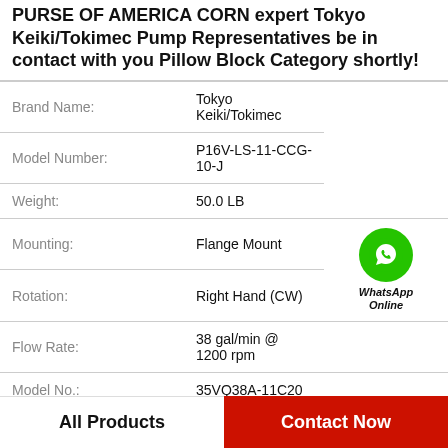PURSE OF AMERICA CORN expert Tokyo Keiki/Tokimec Pump Representatives be in contact with you Pillow Block Category shortly!
| Field | Value |
| --- | --- |
| Brand Name: | Tokyo Keiki/Tokimec |
| Model Number: | P16V-LS-11-CCG-10-J |
| Weight: | 50.0 LB |
| Mounting: | Flange Mount |
| Rotation: | Right Hand (CW) |
| Flow Rate: | 38 gal/min @ 1200 rpm |
| Model No.: | 35VQ38A-11C20 |
| Port Size: | 2 |
[Figure (logo): WhatsApp green circle phone icon with WhatsApp Online text below]
All Products
Contact Now